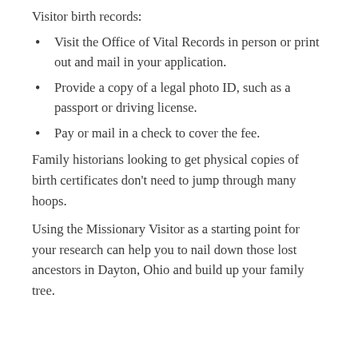Visitor birth records:
Visit the Office of Vital Records in person or print out and mail in your application.
Provide a copy of a legal photo ID, such as a passport or driving license.
Pay or mail in a check to cover the fee.
Family historians looking to get physical copies of birth certificates don't need to jump through many hoops.
Using the Missionary Visitor as a starting point for your research can help you to nail down those lost ancestors in Dayton, Ohio and build up your family tree.